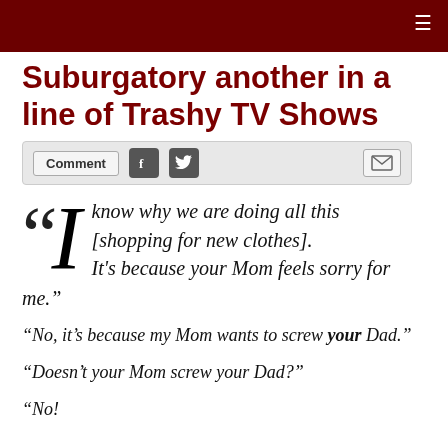Suburgatory another in a line of Trashy TV Shows
Comment [social share icons: Facebook, Twitter, Email]
“I know why we are doing all this [shopping for new clothes]. It’s because your Mom feels sorry for me.”
“No, it’s because my Mom wants to screw your Dad.”
“Doesn’t your Mom screw your Dad?”
“No!